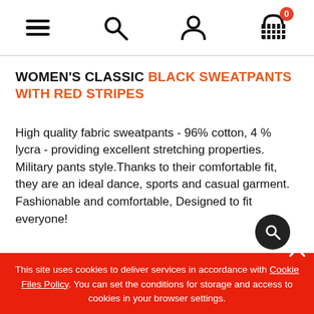Navigation bar with hamburger menu, search icon, user icon, and cart icon (badge: 0)
WOMEN'S CLASSIC BLACK SWEATPANTS WITH RED STRIPES
High quality fabric sweatpants - 96% cotton, 4 % lycra - providing excellent stretching properties. Military pants style.Thanks to their comfortable fit, they are an ideal dance, sports and casual garment. Fashionable and comfortable, Designed to fit everyone!
This site uses cookies to deliver services in accordance with Cookie Files Policy. You can set the conditions for storage and access to cookies in your browser settings.